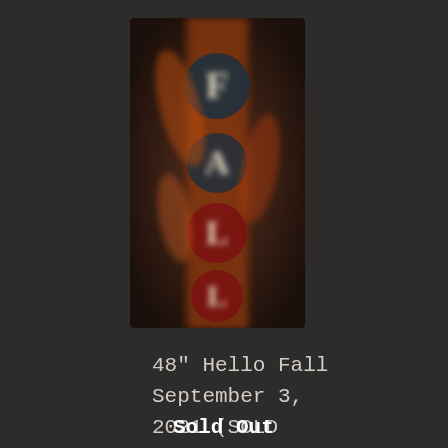[Figure (photo): Blurry photo of a tall decorative garden flag or wood sign spelling out 'FALL' vertically with autumn-themed decorations, orange and red colors with a dark background]
48" Hello Fall September 3, 2021 (SOLD OUT)
Sold Out